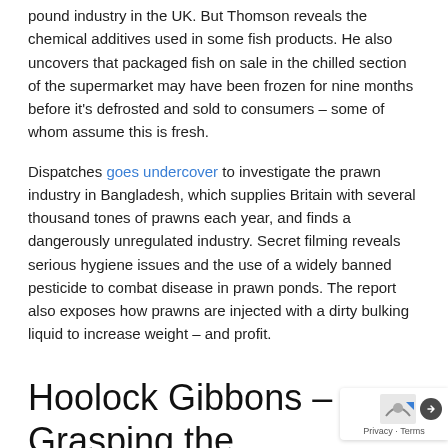pound industry in the UK. But Thomson reveals the chemical additives used in some fish products. He also uncovers that packaged fish on sale in the chilled section of the supermarket may have been frozen for nine months before it's defrosted and sold to consumers – some of whom assume this is fresh.
Dispatches goes undercover to investigate the prawn industry in Bangladesh, which supplies Britain with several thousand tones of prawns each year, and finds a dangerously unregulated industry. Secret filming reveals serious hygiene issues and the use of a widely banned pesticide to combat disease in prawn ponds. The report also exposes how prawns are injected with a dirty bulking liquid to increase weight – and profit.
Hoolock Gibbons – Grasping the Last Branch